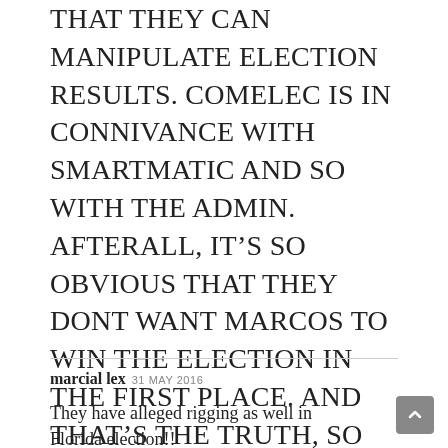THAT THEY CAN MANIPULATE ELECTION RESULTS. COMELEC IS IN CONNIVANCE WITH SMARTMATIC AND SO WITH THE ADMIN. AFTERALL, IT'S SO OBVIOUS THAT THEY DONT WANT MARCOS TO WIN THE ELECTION IN THE FIRST PLACE. AND THAT'S THE TRUTH, SO THEY WILL DO ANYTHING AND HAVE DONE IT THROUGH SMARTMATIC TO GET RID OF HIM WINNING THE VICE PRESIDENCY.
marcial lex 31 MAY 2016
They have alleged rigging as well in Florida election!!